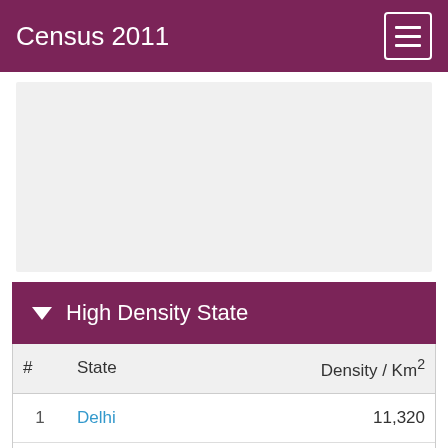Census 2011
[Figure (other): Advertisement or banner placeholder area (grey rectangle)]
High Density State
| # | State | Density / Km2 |
| --- | --- | --- |
| 1 | Delhi | 11,320 |
| 2 | Chandigarh | 9,258 |
| 3 | Daman & Diu | 2,547 |